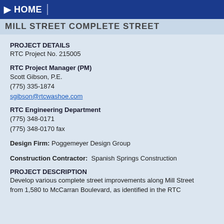HOME
MILL STREET COMPLETE STREET
PROJECT DETAILS
RTC Project No. 215005
RTC Project Manager (PM)
Scott Gibson, P.E.
(775) 335-1874
sgibson@rtcwashoe.com
RTC Engineering Department
(775) 348-0171
(775) 348-0170 fax
Design Firm: Poggemeyer Design Group
Construction Contractor: Spanish Springs Construction
PROJECT DESCRIPTION
Develop various complete street improvements along Mill Street from 1,580 to McCarran Boulevard, as identified in the RTC